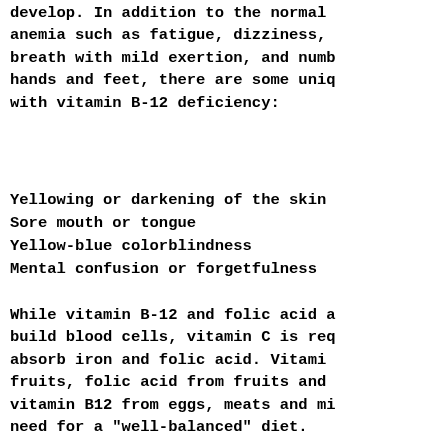develop. In addition to the normal anemia such as fatigue, dizziness, breath with mild exertion, and numb hands and feet, there are some uniq with vitamin B-12 deficiency:
Yellowing or darkening of the skin
Sore mouth or tongue
Yellow-blue colorblindness
Mental confusion or forgetfulness
While vitamin B-12 and folic acid a build blood cells, vitamin C is req absorb iron and folic acid. Vitami fruits, folic acid from fruits and vitamin B12 from eggs, meats and mi need for a "well-balanced" diet.